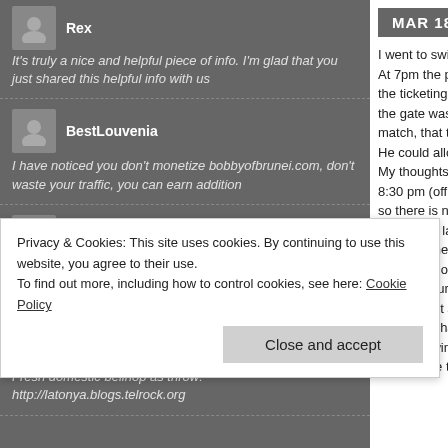Rex — It's truly a nice and helpful piece of info. I'm glad that you just shared this helpful info with us
BestLouvenia — I have noticed you don't monetize bobbyofbrunei.com, don't waste your traffic, you can earn addition
revamq18 — Rejuvenated snare project: http://dale.blogs.telrock.org
stefaniejq18 — Fresh domestic bellhop as throw: http://latonya.blogs.telrock.org
MAR 18 Posted
I went to swimming po... At 7pm the pool was s... the ticketing counter i... the gate was not open... match, that there will ... He could allow people... My thoughts are that I... 8:30 pm (officially 9pm... so there is no problem... getting out later. There... unsanctioned closure ... issue memo OR one s... match occuring when... I was upset and fruste... frustrated that there w... that the swimming spo... I would like to authorit...
Privacy & Cookies: This site uses cookies. By continuing to use this website, you agree to their use.
To find out more, including how to control cookies, see here: Cookie Policy
Close and accept
I have checked your website and I have found some duplicate content, that's why you